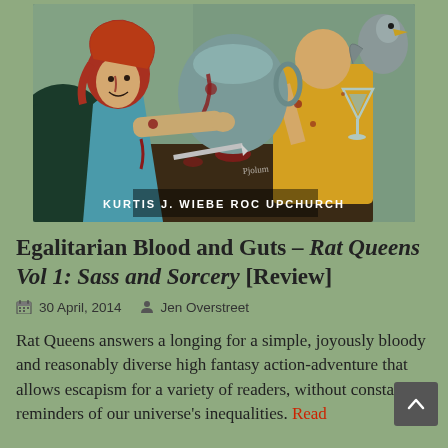[Figure (illustration): Comic book cover art showing two women characters in fantasy/medieval clothing. One has red hair and wears a teal dress, the other wears yellow. There is a large ceramic pot and a bird visible. Text at bottom reads 'KURTIS J. WIEBE  ROC UPCHURCH'. Blood and action scene depicted.]
Egalitarian Blood and Guts – Rat Queens Vol 1: Sass and Sorcery [Review]
30 April, 2014   Jen Overstreet
Rat Queens answers a longing for a simple, joyously bloody and reasonably diverse high fantasy action-adventure that allows escapism for a variety of readers, without constant reminders of our universe's inequalities. Read